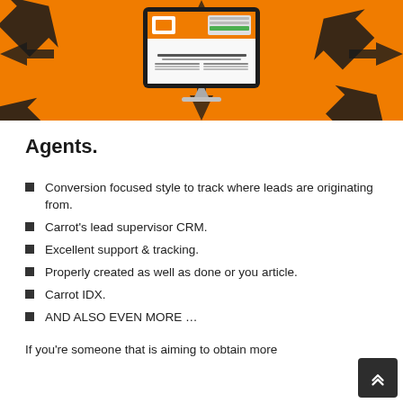[Figure (screenshot): Screenshot of a website on an iMac monitor displayed on an orange background with black arrows pointing inward from all sides.]
Agents.
Conversion focused style to track where leads are originating from.
Carrot's lead supervisor CRM.
Excellent support & tracking.
Properly created as well as done or you article.
Carrot IDX.
AND ALSO EVEN MORE …
If you're someone that is aiming to obtain more